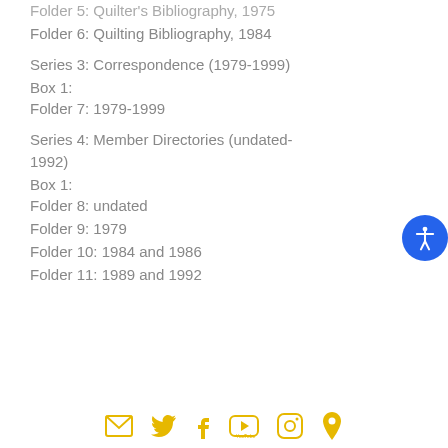Folder 5: Quilter's Bibliography, 1975
Folder 6: Quilting Bibliography, 1984
Series 3: Correspondence (1979-1999)
Box 1:
Folder 7: 1979-1999
Series 4: Member Directories (undated-1992)
Box 1:
Folder 8: undated
Folder 9: 1979
Folder 10: 1984 and 1986
Folder 11: 1989 and 1992
Social media icons: email, twitter, facebook, youtube, instagram, location